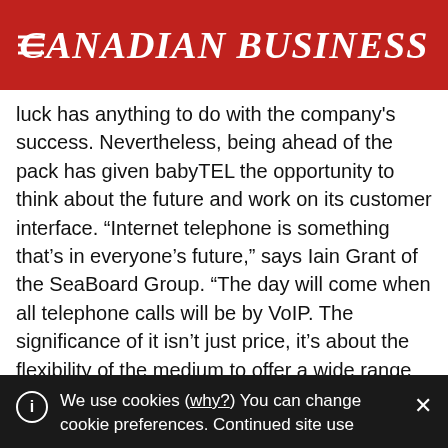CANADIAN BUSINESS
luck has anything to do with the company's success. Nevertheless, being ahead of the pack has given babyTEL the opportunity to think about the future and work on its customer interface. “Internet telephone is something that’s in everyone’s future,” says Iain Grant of the SeaBoard Group. “The day will come when all telephone calls will be by VoIP. The significance of it isn’t just price, it’s about the flexibility of the medium to offer a wide range of features. BabyTEL’s web interface is a perfect example of this: you can check your voice mail and look at call logs in real time. That just isn’t
We use cookies (why?) You can change cookie preferences. Continued site use